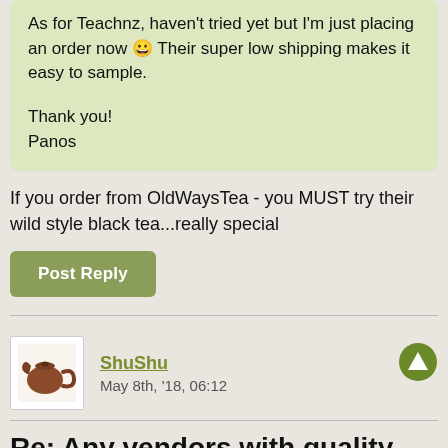As for Teachnz, haven't tried yet but I'm just placing an order now 😀 Their super low shipping makes it easy to sample.

Thank you!
Panos
If you order from OldWaysTea - you MUST try their wild style black tea...really special
Post Reply
ShuShu
May 8th, '18, 06:12
Re: Any vendors with quality similar to WuYi Origin?
Don't forget to report back!